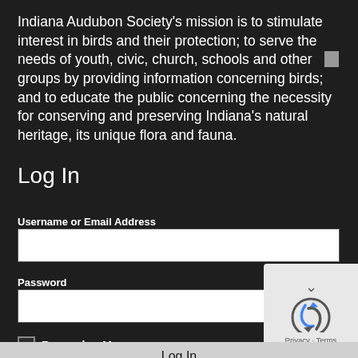Indiana Audubon Society's mission is to stimulate interest in birds and their protection; to serve the needs of youth, civic, church, schools and other groups by providing information concerning birds; and to educate the public concerning the necessity for conserving and preserving Indiana's natural heritage, its unique flora and fauna.
Log In
Username or Email Address
Password
Remember Me
Log In
[Figure (other): reCAPTCHA widget with blue arrow chevron, reCAPTCHA logo, and Privacy - Terms text]